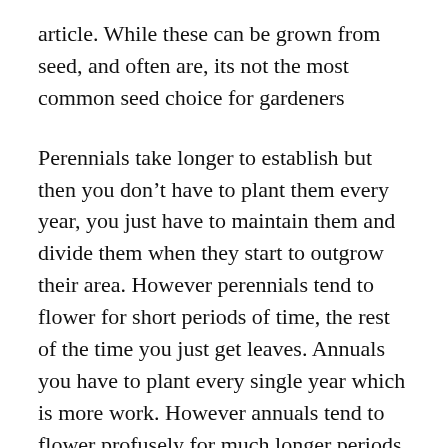article. While these can be grown from seed, and often are, its not the most common seed choice for gardeners
Perennials take longer to establish but then you don’t have to plant them every year, you just have to maintain them and divide them when they start to outgrow their area. However perennials tend to flower for short periods of time, the rest of the time you just get leaves. Annuals you have to plant every single year which is more work. However annuals tend to flower profusely for much longer periods of time giving a lot more color and show. Most people go for a mixture of both for the best results.